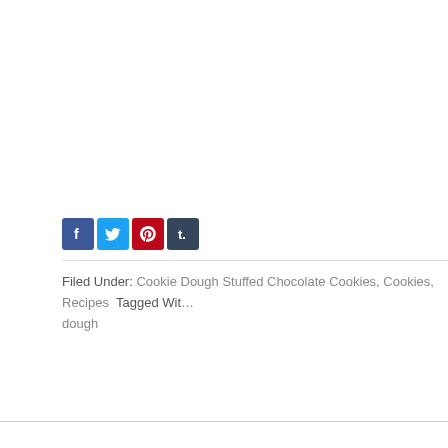[Figure (infographic): Social share buttons: Facebook (blue), Twitter (light blue), Pinterest (red), Tumblr (dark blue/gray)]
Filed Under: Cookie Dough Stuffed Chocolate Cookies, Cookies, Recipes  Tagged Wit… dough